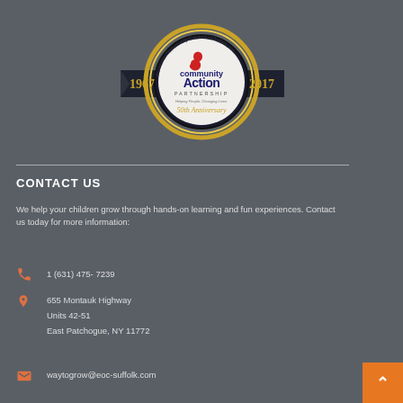[Figure (logo): Economic Opportunity Council of Suffolk, Inc. 50th Anniversary logo (1967-2017) with Community Action Partnership emblem, gold circular medal with dark ribbon banner]
CONTACT US
We help your children grow through hands-on learning and fun experiences. Contact us today for more information:
1 (631) 475- 7239
655 Montauk Highway
Units 42-51
East Patchogue, NY 11772
waytogrow@eoc-suffolk.com